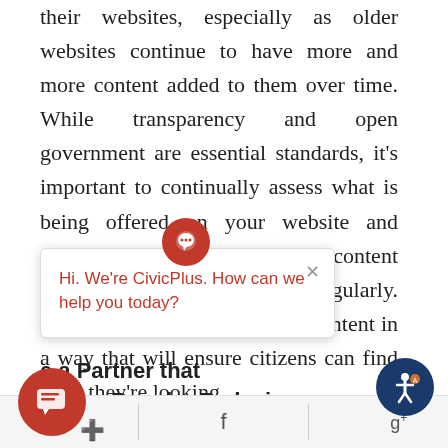their websites, especially as older websites continue to have more and more content added to them over time. While transparency and open government are essential standards, it's important to continually assess what is being offered on your website and ensure you are only offering the content that citizens want and need regularly. It's also important to organize content in a way that will ensure citizens can find what they're looking
[Figure (screenshot): A CivicPlus chat widget popup showing a red circular speech bubble button and a white popup box with the text 'Hi. We're CivicPlus. How can we help you today?' with a close (X) button. Also shows a large red circular chat button in the bottom left and a blue accessibility icon in the bottom right.]
a Partner that Offers Regular Redesigns
Twitter | Facebook | Google+